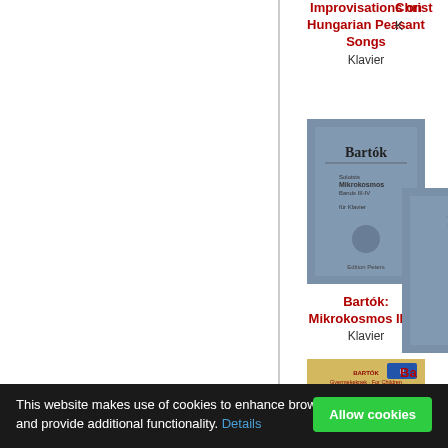Improvisations on Hungarian Peasant Songs
Klavier
[Figure (photo): Book cover of Bartók: Mikrokosmos III-IV, blue cover with Bartók text]
Bartók: Mikrokosmos III-IV
Klavier
[Figure (photo): Partial book cover on right side, blue, cropped]
Ba Mikroko K
[Figure (photo): Book cover of Bartók: For Children II, colorful with children and tree illustration]
Bartók: For Children II
[Figure (photo): Partial book cover on right, brown/golden, cropped]
Ba Mikroko
This website makes use of cookies to enhance browsing experience and provide additional functionality. Details
Allow cookies